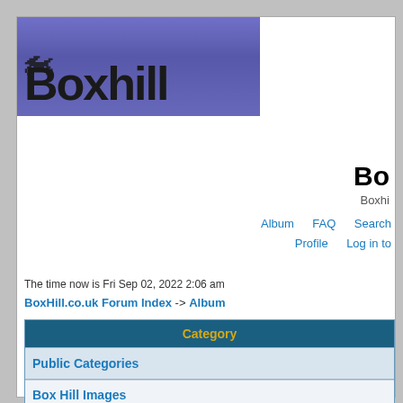[Figure (logo): Boxhill motorcycle forum logo — purple/blue striped banner with motorbike silhouette and 'Boxhill' text in large bold black font]
Bo
Boxhi
Album   FAQ   Search
Profile   Log in to
The time now is Fri Sep 02, 2022 2:06 am
BoxHill.co.uk Forum Index -> Album
| Category |
| --- |
| Public Categories |
| Box Hill Images
An upload area for all your images of Box Hill :) |
|  |